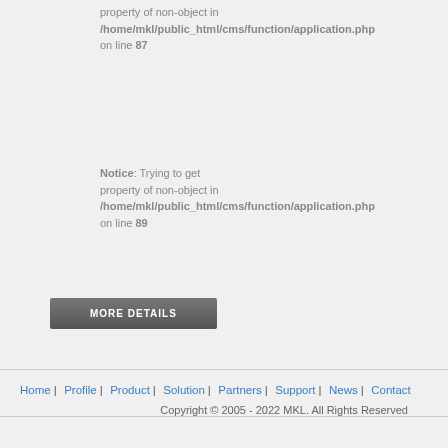property of non-object in /home/mkl/public_html/cms/function/application.php on line 87
Notice: Trying to get property of non-object in /home/mkl/public_html/cms/function/application.php on line 89
[Figure (other): MORE DETAILS button - dark grey rounded rectangle button with white uppercase text]
Home | Profile | Product | Solution | Partners | Support | News | Contact Copyright © 2005 - 2022 MKL. All Rights Reserved